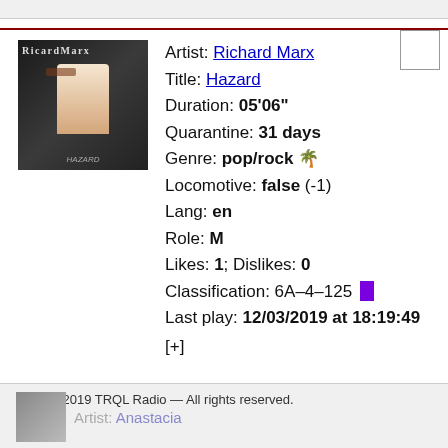[Figure (photo): Album art for Richard Marx showing a man in a white shirt, dark background, with 'Richard Marx' text overlay]
Artist: Richard Marx
Title: Hazard
Duration: 05'06"
Quarantine: 31 days
Genre: pop/rock 🌴
Locomotive: false (-1)
Lang: en
Role: M
Likes: 1; Dislikes: 0
Classification: 6A-4-125
Last play: 12/03/2019 at 18:19:49
[+]
© 2017-2019 TRQL Radio — All rights reserved.
Artist: Anastacia